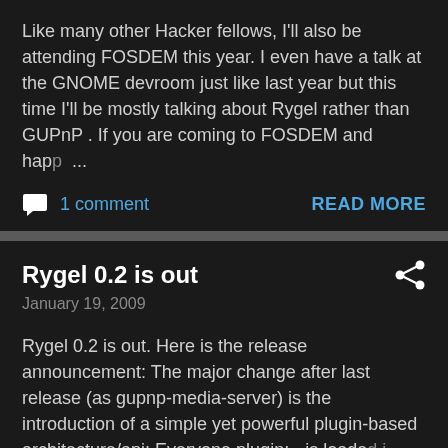Like many other Hacker fellows, I'll also be attending FOSDEM this year. I even have a talk at the GNOME devroom just like last year but this time I'll be mostly talking about Rygel rather than GUPnP . If you are coming to FOSDEM and happ ...
1 comment
READ MORE
Rygel 0.2 is out
January 19, 2009
Rygel 0.2 is out. Here is the release announcement: The major change after last release (as gupnp-media-server) is the introduction of a simple yet powerful plugin-based architecture/api: Everyone plugin; - is loaded i...